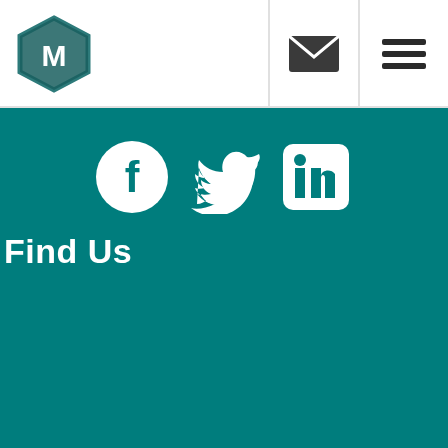[Figure (logo): Hexagonal logo with letter M in teal/dark green gradient]
[Figure (illustration): Email envelope icon in dark gray]
[Figure (illustration): Hamburger menu icon (three horizontal lines) in dark gray]
[Figure (illustration): Social media icons row on teal background: Facebook circle, Twitter bird, LinkedIn square]
Find Us